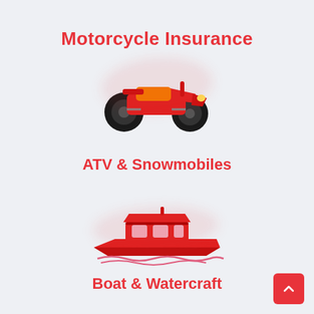Motorcycle Insurance
[Figure (illustration): ATV / quad bike illustration with red and orange coloring and large black tires, with a faint pink shadow blob behind it]
ATV & Snowmobiles
[Figure (illustration): Red motorboat / yacht illustration with pink cabin windows and wave lines beneath, with a faint pink shadow blob behind it]
Boat & Watercraft